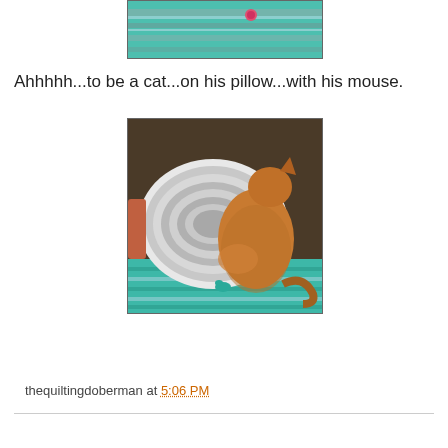[Figure (photo): Top portion of a crocheted teal/turquoise and grey striped mat or rug with a small red/pink toy mouse visible on it]
Ahhhhh...to be a cat...on his pillow...with his mouse.
[Figure (photo): An orange tabby cat lying on a large crocheted cushion/pillow with concentric grey and white oval pattern, on top of a teal striped crochet mat, with a small teal mouse toy nearby]
thequiltingdoberman at 5:06 PM